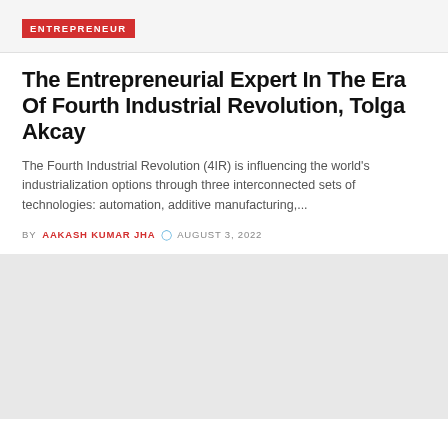ENTREPRENEUR
The Entrepreneurial Expert In The Era Of Fourth Industrial Revolution, Tolga Akcay
The Fourth Industrial Revolution (4IR) is influencing the world's industrialization options through three interconnected sets of technologies: automation, additive manufacturing,...
BY AAKASH KUMAR JHA  AUGUST 3, 2022
[Figure (photo): Article image placeholder - light gray background]